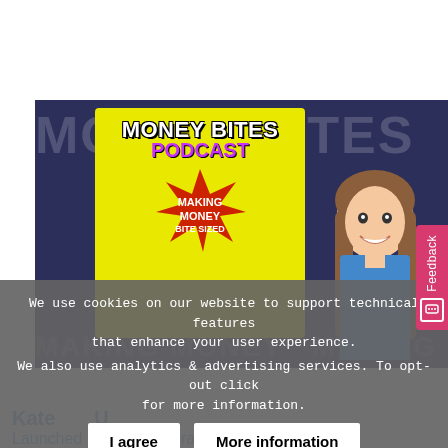[Figure (photo): Money Bites Podcast logo/cover art on a dark navy background. Yellow card with 'MONEY BITES' in large Impact font and 'PODCAST' in purple script. Red starburst with 'MAKING MONEY BITE SIZED'. Comic-style illustration of a woman with long brown hair. Background shows faint large text 'MONEY BITES' and 'MAKING MONEY'.]
We use cookies on our website to support technical features that enhance your user experience.
We also use analytics & advertising services. To opt-out click for more information.
I agree
More information
Kate U...
Launched Financial Literacy Podcast